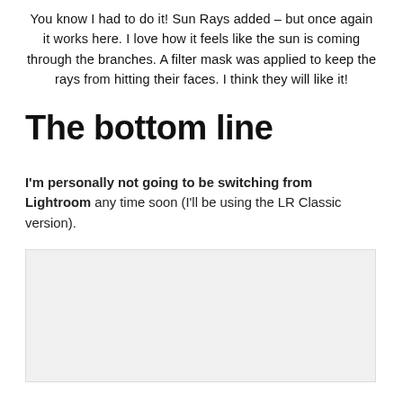You know I had to do it! Sun Rays added – but once again it works here. I love how it feels like the sun is coming through the branches. A filter mask was applied to keep the rays from hitting their faces. I think they will like it!
The bottom line
I'm personally not going to be switching from Lightroom any time soon (I'll be using the LR Classic version).
[Figure (photo): Placeholder image area (light gray rectangle)]